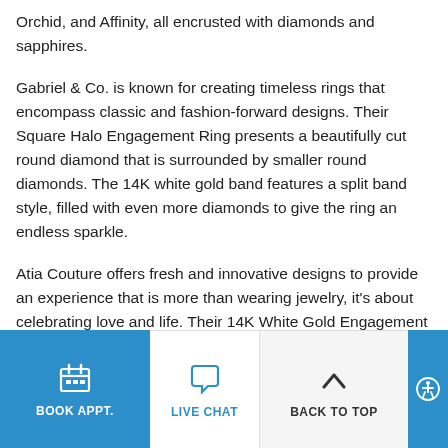Orchid, and Affinity, all encrusted with diamonds and sapphires.
Gabriel & Co. is known for creating timeless rings that encompass classic and fashion-forward designs. Their Square Halo Engagement Ring presents a beautifully cut round diamond that is surrounded by smaller round diamonds. The 14K white gold band features a split band style, filled with even more diamonds to give the ring an endless sparkle.
Atia Couture offers fresh and innovative designs to provide an experience that is more than wearing jewelry, it's about celebrating love and life. Their 14K White Gold Engagement Ring features a classic and charming design with a round diamond as a centerpiece. It offers a twist on the classic halo design, which is sure to warm your heart.
BOOK APPT. | LIVE CHAT | BACK TO TOP